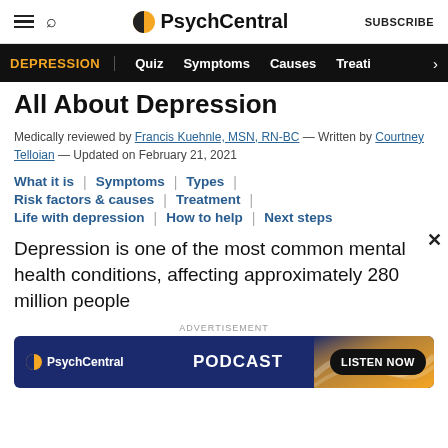PsychCentral | SUBSCRIBE
DEPRESSION | Quiz | Symptoms | Causes | Treati >
All About Depression
Medically reviewed by Francis Kuehnle, MSN, RN-BC — Written by Courtney Telloian — Updated on February 21, 2021
What it is | Symptoms | Types | Risk factors & causes | Treatment | Life with depression | How to help | Next steps
Depression is one of the most common mental health conditions, affecting approximately 280 million people
[Figure (screenshot): PsychCentral podcast advertisement banner with orange graphic and LISTEN NOW button]